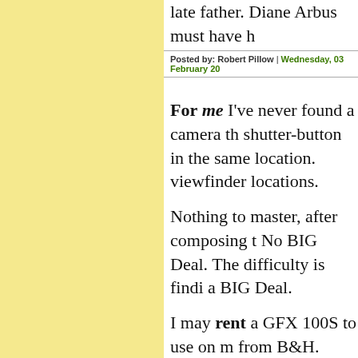late father. Diane Arbus must have h
Posted by: Robert Pillow | Wednesday, 03 February 20
For me I've never found a camera th shutter-button in the same location. viewfinder locations.
Nothing to master, after composing t No BIG Deal. The difficulty is findi a BIG Deal.
I may rent a GFX 100S to use on m from B&H.
BTW I've sold my Canon DSLR and Downsizing is fun. Now I need to se
Posted by: c.d.embrey | Wednesday, 03 February 2021
Best mountain climbing book? How Herzog. https://www.goodreads.com